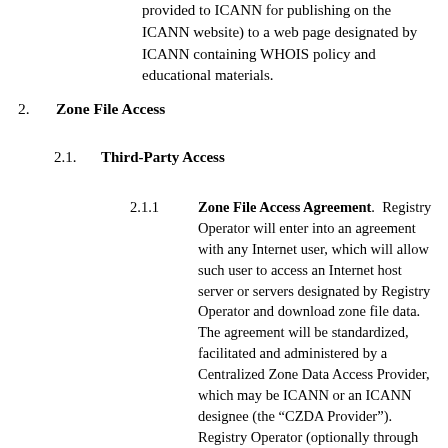provided to ICANN for publishing on the ICANN website) to a web page designated by ICANN containing WHOIS policy and educational materials.
2.    Zone File Access
2.1.    Third-Party Access
2.1.1  Zone File Access Agreement.  Registry Operator will enter into an agreement with any Internet user, which will allow such user to access an Internet host server or servers designated by Registry Operator and download zone file data.  The agreement will be standardized, facilitated and administered by a Centralized Zone Data Access Provider, which may be ICANN or an ICANN designee (the “CZDA Provider”).  Registry Operator (optionally through the CZDA Provider) will provide access to zone file data per Section 2.1.3 of this Specification and do so using the file format described in Section 2.1.4 of this Specification.  Notwithstanding the foregoing, (a) the CZDA Provider may